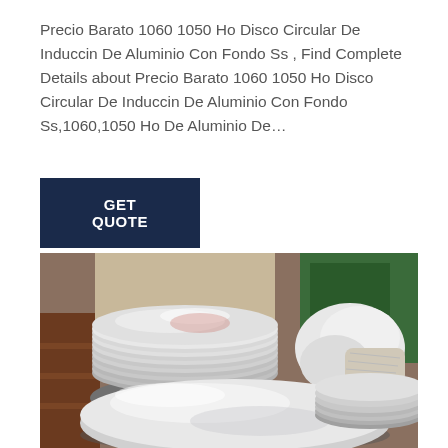Precio Barato 1060 1050 Ho Disco Circular De Induccin De Aluminio Con Fondo Ss , Find Complete Details about Precio Barato 1060 1050 Ho Disco Circular De Induccin De Aluminio Con Fondo Ss,1060,1050 Ho De Aluminio De…
GET QUOTE
[Figure (photo): Photo of stacked circular aluminum discs in a factory/warehouse setting. Multiple shiny silver circular aluminum blanks are stacked in piles, with wooden shelving and wrapped materials visible in the background. A large single aluminum disc is prominently shown in the foreground.]